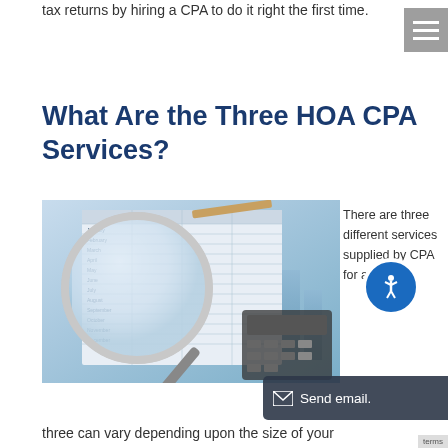tax returns by hiring a CPA to do it right the first time.
What Are the Three HOA CPA Services?
[Figure (photo): A magnifying glass over a monthly financial spreadsheet with bar charts and a calculator in the background]
There are three different services supplied by CPA for an HOA.
three can vary depending upon the size of your